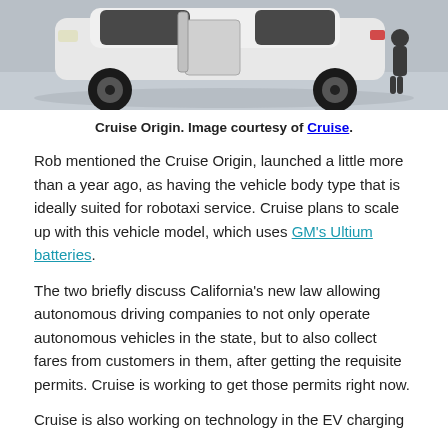[Figure (photo): Photo of Cruise Origin autonomous vehicle, white boxy vehicle with open side door, viewed from front-left angle on a light gray surface.]
Cruise Origin. Image courtesy of Cruise.
Rob mentioned the Cruise Origin, launched a little more than a year ago, as having the vehicle body type that is ideally suited for robotaxi service. Cruise plans to scale up with this vehicle model, which uses GM’s Ultium batteries.
The two briefly discuss California’s new law allowing autonomous driving companies to not only operate autonomous vehicles in the state, but to also collect fares from customers in them, after getting the requisite permits. Cruise is working to get those permits right now.
Cruise is also working on technology in the EV charging